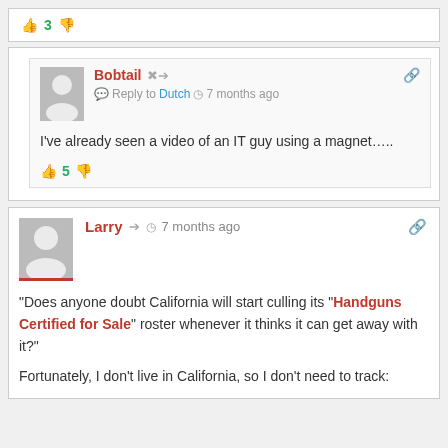[Figure (other): Thumbs up icon with vote count 3 and thumbs down icon]
[Figure (other): Comment block: Bobtail replying to Dutch, 7 months ago. Text: I've already seen a video of an IT guy using a magnet..... Vote count: 5]
[Figure (other): Comment block: Larry, 7 months ago. Text about California Handguns Certified for Sale roster, then Fortunately I don't live in California, so I don't need to track:]